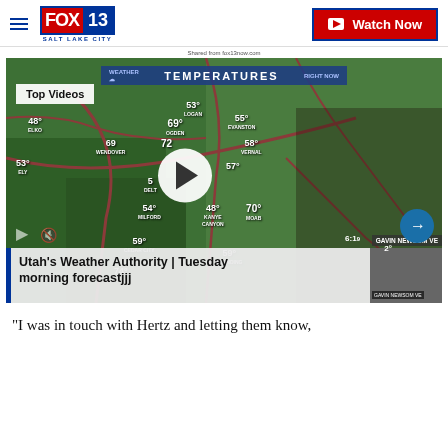FOX 13 SALT LAKE CITY | Watch Now
Shared from fox13now.com
[Figure (screenshot): Fox 13 weather broadcast video thumbnail showing a meteorologist in front of a temperature map of Utah and surrounding states. Temperatures shown: 48 ELKO, 69 WENDOVER, 53 ELY, 53 LOGAN, 69 OGDEN, 72 (SLC area), 55 EVANSTON, 58 VERNAL, 57 (PRICE area), 54 MILFORD, 48 KANYE CANYON, 70 MOAB, 59 CEDAR CITY, 59 BLANDING, 74 (south). Video has a white play button circle, Top Videos label, Temperatures banner, arrow navigation button, and title overlay reading Utah's Weather Authority | Tuesday morning forecastjjj]
"I was in touch with Hertz and letting them know,